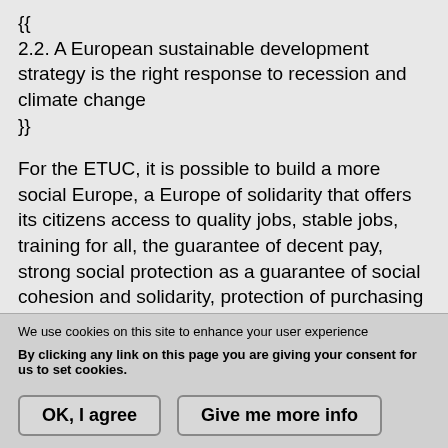{{ 2.2. A European sustainable development strategy is the right response to recession and climate change }}
For the ETUC, it is possible to build a more social Europe, a Europe of solidarity that offers its citizens access to quality jobs, stable jobs, training for all, the guarantee of decent pay, strong social protection as a guarantee of social cohesion and solidarity, protection of purchasing power, the guarantee of better pensions, and quality public
We use cookies on this site to enhance your user experience
By clicking any link on this page you are giving your consent for us to set cookies.